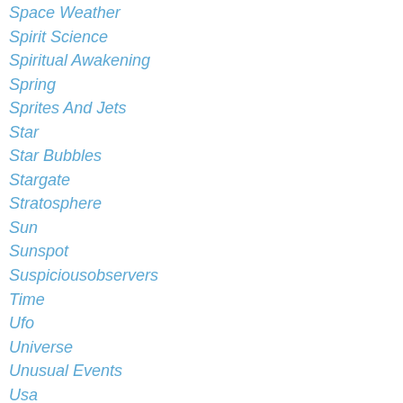Space Weather
Spirit Science
Spiritual Awakening
Spring
Sprites And Jets
Star
Star Bubbles
Stargate
Stratosphere
Sun
Sunspot
Suspiciousobservers
Time
Ufo
Universe
Unusual Events
Usa
Vibrations
Volcanic Activity
Water
World